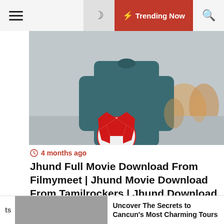≡  🌙  ⚡ Trending Now  🔍
[Figure (photo): Person in dark teal long-sleeve shirt holding a red and white soccer ball outdoors, with blurred people in background]
4 months ago
Jhund Full Movie Download From Filmymeet | Jhund Movie Download From Tamilrockers | Jhund Download Full Movie Filmyzilla
[Figure (photo): Hand holding a smartphone displaying a QR code document, with luggage and travel items in the background]
cs   Uncover The Secrets to Cancun's Most Charming Tours